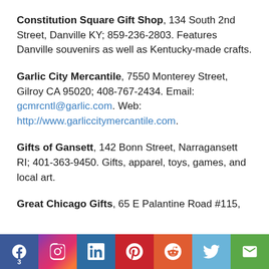Constitution Square Gift Shop, 134 South 2nd Street, Danville KY; 859-236-2803. Features Danville souvenirs as well as Kentucky-made crafts.
Garlic City Mercantile, 7550 Monterey Street, Gilroy CA 95020; 408-767-2434. Email: gcmrcntl@garlic.com. Web: http://www.garliccitymercantile.com.
Gifts of Gansett, 142 Bonn Street, Narragansett RI; 401-363-9450. Gifts, apparel, toys, games, and local art.
Great Chicago Gifts, 65 E Palantine Road #115,
[Figure (infographic): Social media sharing bar with icons for Facebook (with count 3), Instagram, LinkedIn, Pinterest, Reddit, Twitter, and Email on colored backgrounds.]